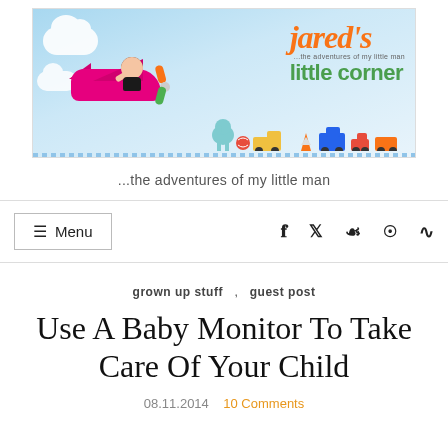[Figure (illustration): Jared's Little Corner blog banner with cartoon child riding a colorful airplane, toy train, clouds, and the blog title text]
...the adventures of my little man
≡ Menu  f  twitter  pinterest  instagram  rss
grown up stuff , guest post
Use A Baby Monitor To Take Care Of Your Child
08.11.2014   10 Comments